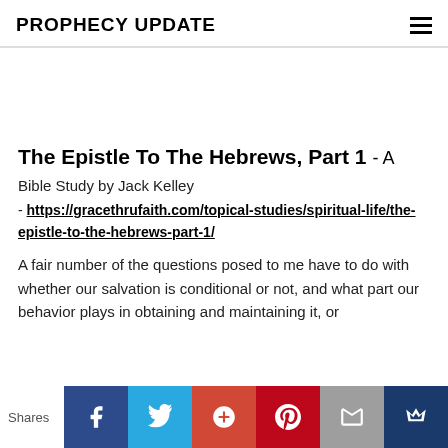PROPHECY UPDATE
The Epistle To The Hebrews, Part 1 - A
Bible Study by Jack Kelley
- https://gracethrufaith.com/topical-studies/spiritual-life/the-epistle-to-the-hebrews-part-1/
A fair number of the questions posed to me have to do with whether our salvation is conditional or not, and what part our behavior plays in obtaining and maintaining it, or
Shares